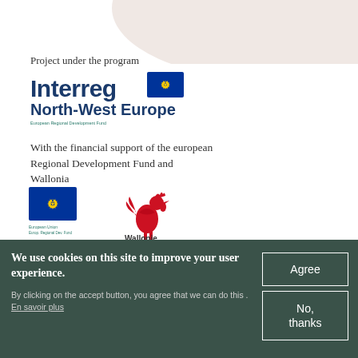[Figure (illustration): Light pink/beige curved decorative shape in top-right area of page background]
Project under the program
[Figure (logo): Interreg North-West Europe logo with EU flag emblem. Blue bold text 'Interreg' and 'North-West Europe' with EU stars circle flag icon and 'European Regional Development Fund' small text below]
With the financial support of the european Regional Development Fund and Wallonia
[Figure (logo): EU flag logo (blue with yellow stars circle) with 'European Union / European Regional Development Fund' small text below, and Wallonie logo (red rooster) with 'Wallonie' text]
Privacy settings
Subscribe to our newsletter
Follow us
We use cookies on this site to improve your user experience.
By clicking on the accept button, you agree that we can do this . En savoir plus